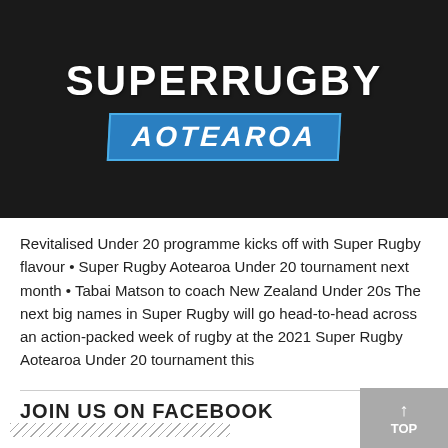[Figure (illustration): Super Rugby Aotearoa banner with dark textured background, white bold text 'SUPER RUGBY' and a blue rectangular badge with white italic text 'AOTEAROA']
Revitalised Under 20 programme kicks off with Super Rugby flavour • Super Rugby Aotearoa Under 20 tournament next month • Tabai Matson to coach New Zealand Under 20s The next big names in Super Rugby will go head-to-head across an action-packed week of rugby at the 2021 Super Rugby Aotearoa Under 20 tournament this
< Older Posts
JOIN US ON FACEBOOK